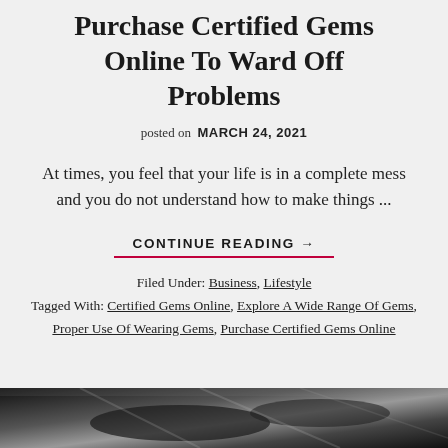Purchase Certified Gems Online To Ward Off Problems
posted on MARCH 24, 2021
At times, you feel that your life is in a complete mess and you do not understand how to make things ...
CONTINUE READING →
Filed Under: Business, Lifestyle Tagged With: Certified Gems Online, Explore A Wide Range Of Gems, Proper Use Of Wearing Gems, Purchase Certified Gems Online
[Figure (photo): Black and white photo at bottom of page, appears to show dark abstract or object imagery]